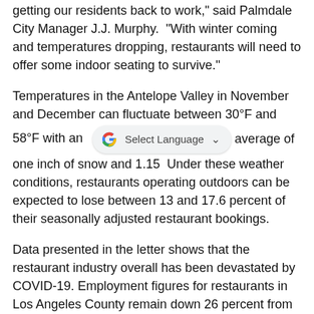getting our residents back to work," said Palmdale City Manager J.J. Murphy.  "With winter coming and temperatures dropping, restaurants will need to offer some indoor seating to survive."
Temperatures in the Antelope Valley in November and December can fluctuate between 30°F and 58°F with an average of one inch of snow and 1.15  Under these weather conditions, restaurants operating outdoors can be expected to lose between 13 and 17.6 percent of their seasonally adjusted restaurant bookings.
Data presented in the letter shows that the restaurant industry overall has been devastated by COVID-19. Employment figures for restaurants in Los Angeles County remain down 26 percent from their Sept. 2019 figures and it is estimated that between 30 to 60 of restaurants will permanently close by the end of 2020.  Under these figures, Los Angeles County can expect between 7,800 and 15,600 restaurants to close leaving the County's economy devastated.
Recent COVID-19 case data shows that Lancaster and